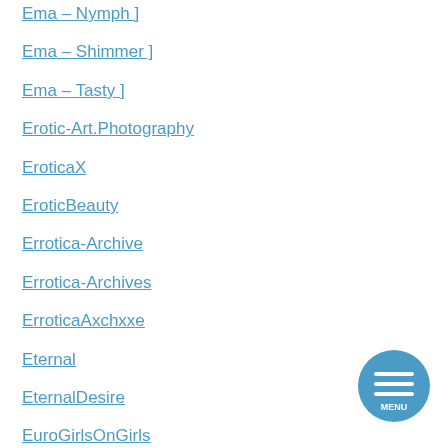Ema – Nymph ]
Ema – Shimmer ]
Ema – Tasty ]
Erotic-Art.Photography
EroticaX
EroticBeauty
Errotica-Archive
Errotica-Archives
ErroticaAxchxxe
Eternal
EternalDesire
EuroGirlsOnGirls
EuroNudes